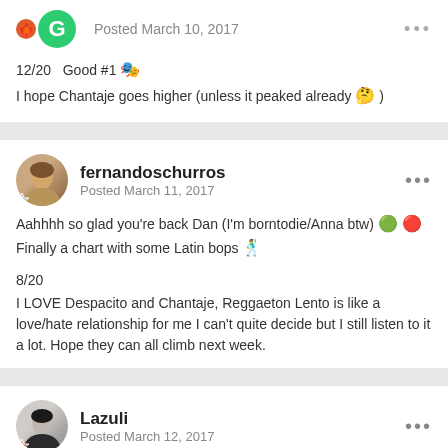Posted March 10, 2017
12/20  Good #1
I hope Chantaje goes higher (unless it peaked already 🤔 )
fernandoschurros
Posted March 11, 2017
Aahhhh so glad you're back Dan (I'm borntodie/Anna btw) 🙂 🥴
Finally a chart with some Latin bops 🕺

8/20
I LOVE Despacito and Chantaje, Reggaeton Lento is like a love/hate relationship for me I can't quite decide but I still listen to it a lot. Hope they can all climb next week.
Lazuli
Posted March 12, 2017